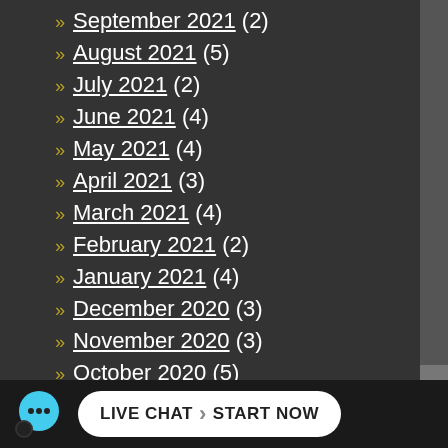» September 2021 (2)
» August 2021 (5)
» July 2021 (2)
» June 2021 (4)
» May 2021 (4)
» April 2021 (3)
» March 2021 (4)
» February 2021 (2)
» January 2021 (4)
» December 2020 (3)
» November 2020 (3)
» October 2020 (5)
LIVE CHAT START NOW